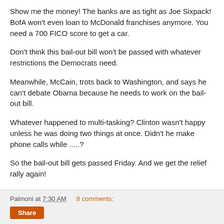Show me the money! The banks are as tight as Joe Sixpack! BofA won't even loan to McDonald franchises anymore. You need a 700 FICO score to get a car.
Don't think this bail-out bill won't be passed with whatever restrictions the Democrats need.
Meanwhile, McCain, trots back to Washington, and says he can't debate Obama because he needs to work on the bail-out bill.
Whatever happened to multi-tasking? Clinton wasn't happy unless he was doing two things at once. Didn't he make phone calls while .....?
So the bail-out bill gets passed Friday. And we get the relief rally again!
Palmoni at 7:30 AM    8 comments:    Share